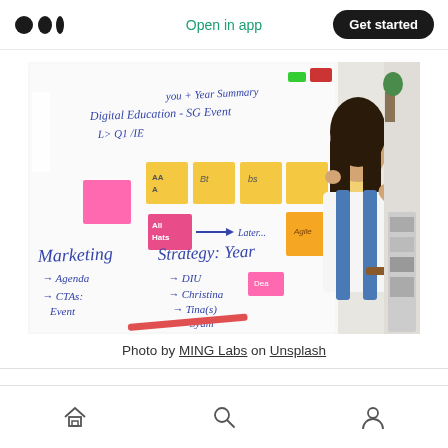Medium logo | Open in app | Get started
[Figure (photo): A woman with long dark hair placing sticky notes on a whiteboard. The whiteboard has handwritten text including 'Digital Education', 'Marketing Strategy: Year...', 'Agenda', 'CTAs: Event', and various arrows and sticky notes in yellow and pink.]
Photo by MING Labs on Unsplash
Home | Search | Profile icons